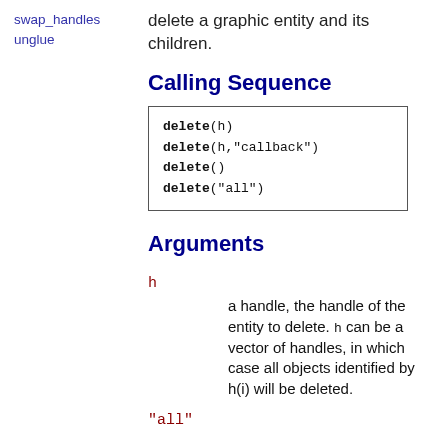swap_handles
unglue
delete a graphic entity and its children.
Calling Sequence
delete(h)
delete(h,"callback")
delete()
delete("all")
Arguments
h
a handle, the handle of the entity to delete. h can be a vector of handles, in which case all objects identified by h(i) will be deleted.
"all"